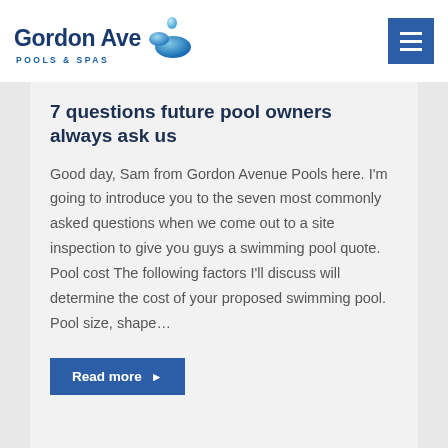Gordon Ave POOLS & SPAS
7 questions future pool owners always ask us
Good day, Sam from Gordon Avenue Pools here. I'm going to introduce you to the seven most commonly asked questions when we come out to a site inspection to give you guys a swimming pool quote. Pool cost The following factors I'll discuss will determine the cost of your proposed swimming pool. Pool size, shape...
Read more ▶